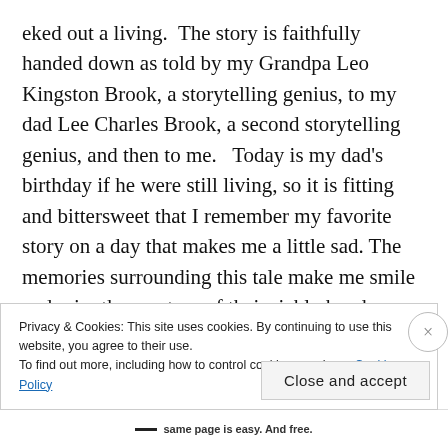eked out a living.  The story is faithfully handed down as told by my Grandpa Leo Kingston Brook, a storytelling genius, to my dad Lee Charles Brook, a second storytelling genius, and then to me.   Today is my dad's birthday if he were still living, so it is fitting and bittersweet that I remember my favorite story on a day that makes me a little sad. The memories surrounding this tale make me smile and miss the mystery of their richly hued, one-of-a-kind, tongue-in-cheek
Privacy & Cookies: This site uses cookies. By continuing to use this website, you agree to their use.
To find out more, including how to control cookies, see here: Cookie Policy
Close and accept
— same page is easy. And free.